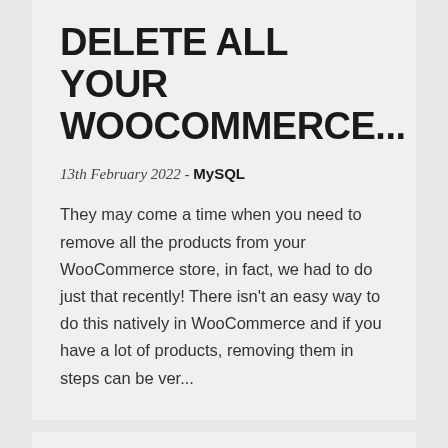DELETE ALL YOUR WOOCOMMERCE...
13th February 2022 - MySQL
They may come a time when you need to remove all the products from your WooCommerce store, in fact, we had to do just that recently! There isn't an easy way to do this natively in WooCommerce and if you have a lot of products, removing them in steps can be ver...